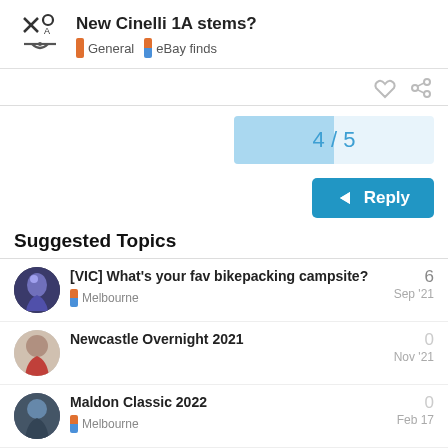New Cinelli 1A stems? — General | eBay finds
4 / 5
Reply
Suggested Topics
[VIC] What's your fav bikepacking campsite? — Melbourne — Sep '21 — 6
Newcastle Overnight 2021 — Nov '21 — 0
Maldon Classic 2022 — Melbourne — Feb 17 — 0
MGG #20. Sunday March 27 — 3